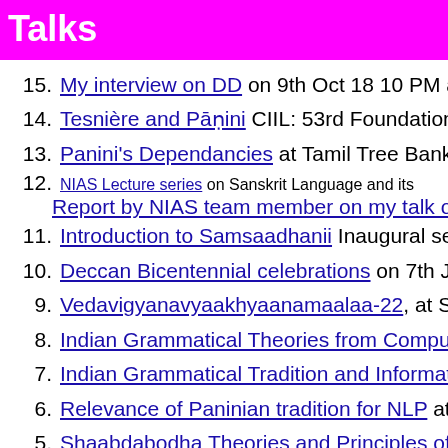Talks
15. My interview on DD on 9th Oct 18 10 PM and agai
14. Tesnière and Pāṇini CIIL: 53rd Foundation Day lec
13. Panini's Dependancies at Tamil Tree Bank on April
12. NIAS Lecture series on Sanskrit Language and its / Report by NIAS team member on my talk on their b
11. Introduction to Samsaadhanii Inaugural session of
10. Deccan Bicentennial celebrations on 7th January 2
9. Vedavigyanavyaakhyaanamaalaa-22, at Sampurna
8. Indian Grammatical Theories from Computational P
7. Indian Grammatical Tradition and Information Tech
6. Relevance of Paninian tradition for NLP at Chinam
5. Shaabdabodha Theories and Principles of Informa
4. Relevance of mimamsa in information processing